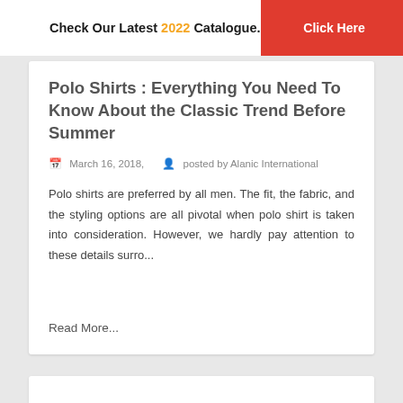Check Our Latest 2022 Catalogue.   Click Here
Polo Shirts : Everything You Need To Know About the Classic Trend Before Summer
March 16, 2018,   posted by Alanic International
Polo shirts are preferred by all men. The fit, the fabric, and the styling options are all pivotal when polo shirt is taken into consideration. However, we hardly pay attention to these details surro...
Read More...